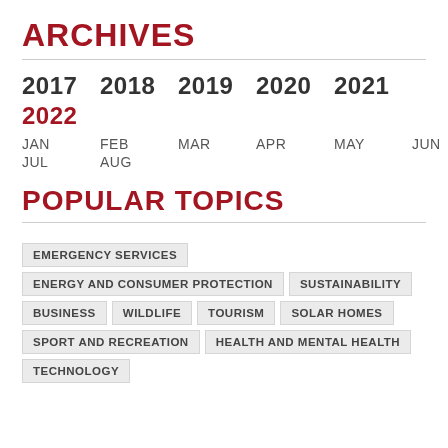ARCHIVES
2017  2018  2019  2020  2021
2022
JAN  FEB  MAR  APR  MAY  JUN
JUL  AUG
POPULAR TOPICS
EMERGENCY SERVICES
ENERGY AND CONSUMER PROTECTION
SUSTAINABILITY
BUSINESS
WILDLIFE
TOURISM
SOLAR HOMES
SPORT AND RECREATION
HEALTH AND MENTAL HEALTH
TECHNOLOGY